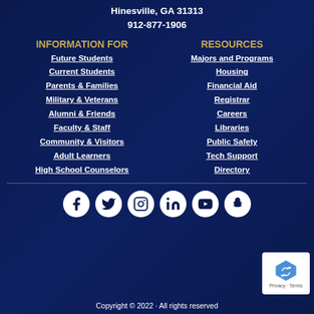Hinesville, GA 31313
912-877-1906
INFORMATION FOR
Future Students
Current Students
Parents & Families
Military & Veterans
Alumni & Friends
Faculty & Staff
Community & Visitors
Adult Learners
High School Counselors
RESOURCES
Majors and Programs
Housing
Financial Aid
Registrar
Careers
Libraries
Public Safety
Tech Support
Directory
[Figure (infographic): Social media icons row: Facebook, Twitter, Instagram, LinkedIn, YouTube, Snapchat]
Copyright © 2022 · All rights reserved